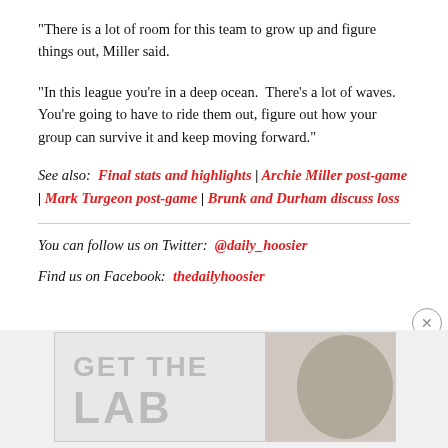“There is a lot of room for this team to grow up and figure things out, Miller said.
“In this league you’re in a deep ocean.  There’s a lot of waves.  You’re going to have to ride them out, figure out how your group can survive it and keep moving forward.”
See also:  Final stats and highlights | Archie Miller post-game | Mark Turgeon post-game | Brunk and Durham discuss loss
You can follow us on Twitter:  @daily_hoosier
Find us on Facebook:  thedailyhoosier
[Figure (other): Advertisement banner with text GET THE LAB partially visible]